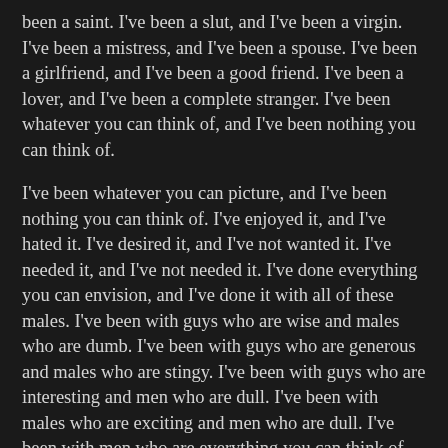been a saint. I've been a slut, and I've been a virgin. I've been a mistress, and I've been a spouse. I've been a girlfriend, and I've been a good friend. I've been a lover, and I've been a complete stranger. I've been whatever you can think of, and I've been nothing you can think of.
I've been whatever you can picture, and I've been nothing you can think of. I've enjoyed it, and I've hated it. I've desired it, and I've not wanted it. I've needed it, and I've not needed it. I've done everything you can envision, and I've done it with all of these males. I've been with guys who are wise and males who are dumb. I've been with guys who are generous and males who are stingy. I've been with guys who are interesting and men who are dull. I've been with males who are exciting and men who are dull. I've been with men who are everything you can think of, and I've been with guys who are absolutely nothing you can picture.